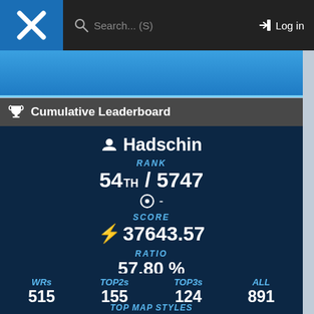Search... (S)   Log in
🏆 Cumulative Leaderboard
Hadschin
RANK
54TH / 5747
⊙ -
SCORE
⚡ 37643.57
RATIO
57.80 %
| WRs | TOP2s | TOP3s | ALL |
| --- | --- | --- | --- |
| 515 | 155 | 124 | 891 |
TOP MAP STYLES
| Race | Tech | Fullspeed |
| --- | --- | --- |
| ⚡ 20092.00 | ⚡ 7318.62 | ⚡ 6047.18 |